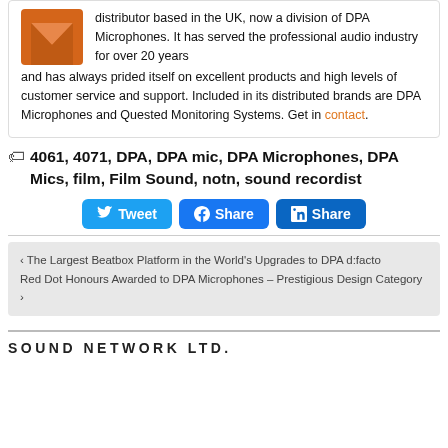distributor based in the UK, now a division of DPA Microphones. It has served the professional audio industry for over 20 years and has always prided itself on excellent products and high levels of customer service and support. Included in its distributed brands are DPA Microphones and Quested Monitoring Systems. Get in contact.
4061, 4071, DPA, DPA mic, DPA Microphones, DPA Mics, film, Film Sound, notn, sound recordist
Tweet Share Share
< The Largest Beatbox Platform in the World's Upgrades to DPA d:facto
Red Dot Honours Awarded to DPA Microphones – Prestigious Design Category >
SOUND NETWORK LTD.